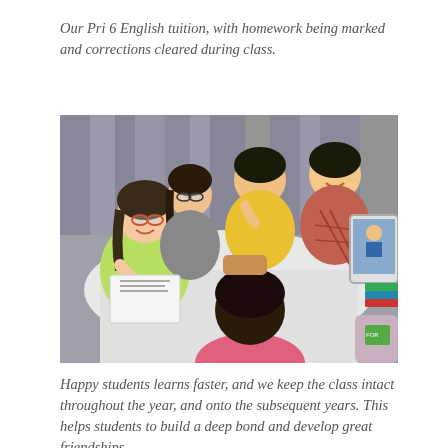Our Pri 6 English tuition, with homework being marked and corrections cleared during class.
[Figure (photo): Four children sitting around a white table studying together. One girl in a yellow-green top is laughing, a girl with glasses beside her, two boys in the background smiling, and a child with dark hair in a pink top seen from behind. A tablet is propped on the right side of the table along with books and stationery.]
Happy students learns faster, and we keep the class intact throughout the year, and onto the subsequent years. This helps students to build a deep bond and develop great friendships.